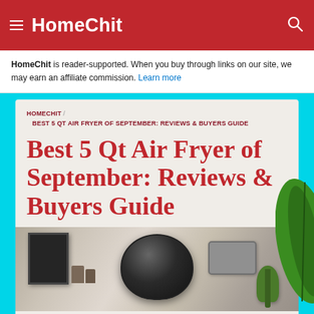HomeChit
HomeChit is reader-supported. When you buy through links on our site, we may earn an affiliate commission. Learn more
HOMECHIT / BEST 5 QT AIR FRYER OF SEPTEMBER: REVIEWS & BUYERS GUIDE
Best 5 Qt Air Fryer of September: Reviews & Buyers Guide
[Figure (photo): Photo of an air fryer on a kitchen counter with various kitchen items in the background]